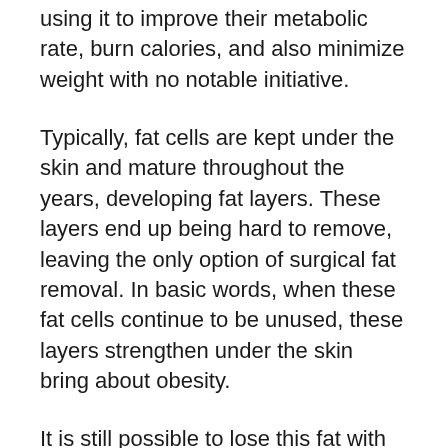using it to improve their metabolic rate, burn calories, and also minimize weight with no notable initiative.
Typically, fat cells are kept under the skin and mature throughout the years, developing fat layers. These layers end up being hard to remove, leaving the only option of surgical fat removal. In basic words, when these fat cells continue to be unused, these layers strengthen under the skin bring about obesity.
It is still possible to lose this fat with dietary and also way of living modifications, however that is a very long procedure. Some people can liquify these fats down payment more quickly than the remainder. However,